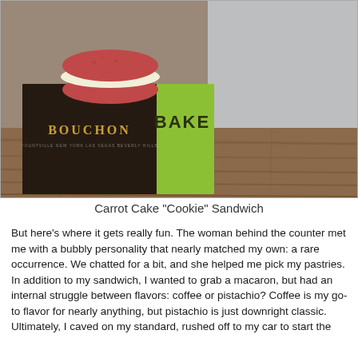[Figure (photo): A Bouchon Bakery box (dark brown with gold text reading BOUCHON, subtitle YOUNTVILLE NEW YORK LAS VEGAS BEVERLY HILLS, and a green side panel with partial text BAKE) sitting on a wooden table. On top of the box sits a large red/pink carrot cake cookie sandwich with white cream filling.]
Carrot Cake "Cookie" Sandwich
But here's where it gets really fun.  The woman behind the counter met me with a bubbly personality that nearly matched my own: a rare occurrence.  We chatted for a bit, and she helped me pick my pastries.  In addition to my sandwich, I wanted to grab a macaron, but had an internal struggle between flavors: coffee or pistachio?  Coffee is my go-to flavor for nearly anything, but pistachio is just downright classic.  Ultimately, I caved on my standard, rushed off to my car to start the